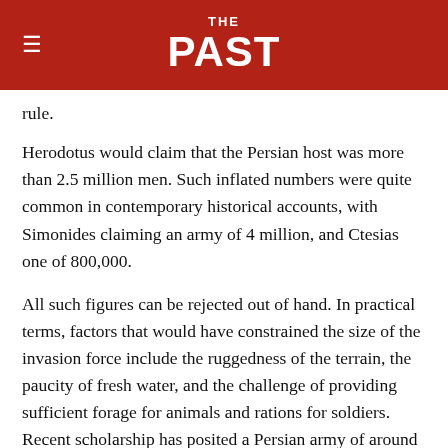THE PAST
rule.
Herodotus would claim that the Persian host was more than 2.5 million men. Such inflated numbers were quite common in contemporary historical accounts, with Simonides claiming an army of 4 million, and Ctesias one of 800,000.
All such figures can be rejected out of hand. In practical terms, factors that would have constrained the size of the invasion force include the ruggedness of the terrain, the paucity of fresh water, and the challenge of providing sufficient forage for animals and rations for soldiers. Recent scholarship has posited a Persian army of around 120,000 men. Even this would have amounted to one of the largest armies ever assembled in the pre-industrial world.
Anything close to 120,000 men would have represented a